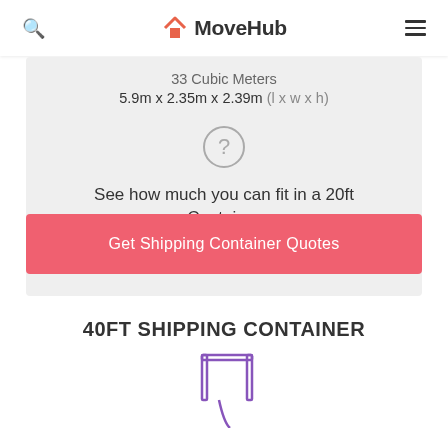MoveHub
33 Cubic Meters
5.9m x 2.35m x 2.39m (l x w x h)
[Figure (illustration): Circle with question mark icon]
See how much you can fit in a 20ft Container
Price: £4,005 - £4,425
Get Shipping Container Quotes
40FT SHIPPING CONTAINER
[Figure (illustration): Purple container/shipping icon (partially visible)]